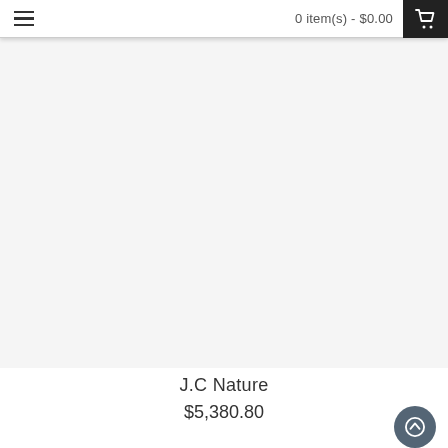0 item(s) - $0.00
[Figure (photo): Product image area for J.C Nature product, shown as a large white/light gray rectangle]
J.C Nature
$5,380.80
[Figure (infographic): Three black circular action buttons: add to cart (shopping cart icon), wishlist (heart icon), compare (refresh/arrows icon). A dark gray circular scroll-to-top button with up arrow at bottom right.]